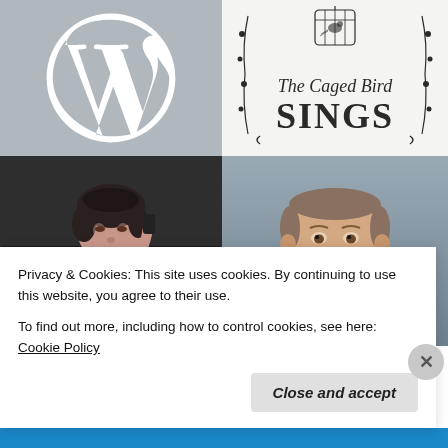[Figure (logo): WordPress logo — white W symbol on grey background]
[Figure (logo): The Caged Bird Sings logo with decorative bird cage illustration and branch/leaf border]
[Figure (photo): Woman with dark hair talking on a phone, sitting on a dark sofa, wearing a black patterned top]
[Figure (photo): Young man with short hair smiling, headshot on grey background, wearing a blue top]
Privacy & Cookies: This site uses cookies. By continuing to use this website, you agree to their use.
To find out more, including how to control cookies, see here: Cookie Policy
Close and accept